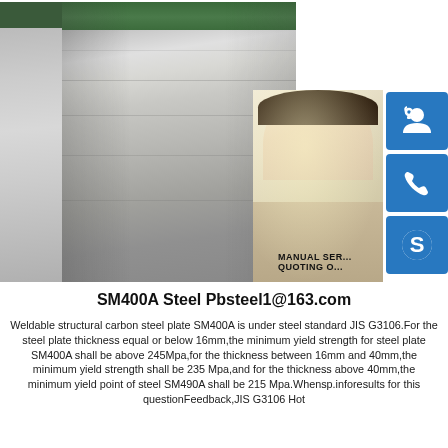[Figure (photo): Steel plate sheets stacked in a warehouse/factory, viewed in perspective showing a green rack and silvery-gray steel plates. Overlaid with a photo of a smiling young woman with a headset (customer service representative) and three blue icon buttons (headset, phone, Skype). Yellow/white background behind the woman. Text overlay reads 'MANUAL SE...' and 'QUOTING O...']
SM400A Steel Pbsteel1@163.com
Weldable structural carbon steel plate SM400A is under steel standard JIS G3106.For the steel plate thickness equal or below 16mm,the minimum yield strength for steel plate SM400A shall be above 245Mpa,for the thickness between 16mm and 40mm,the minimum yield strength shall be 235 Mpa,and for the thickness above 40mm,the minimum yield point of steel SM490A shall be 215 Mpa.Whensp.inforesults for this questionFeedback,JIS G3106 Hot